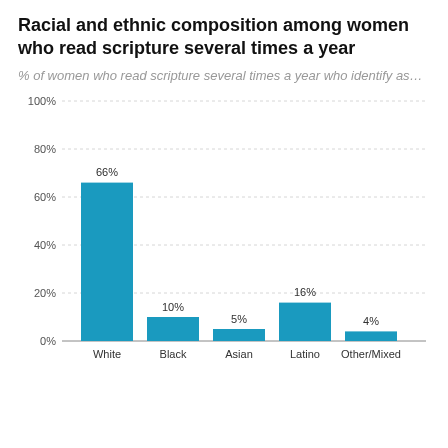Racial and ethnic composition among women who read scripture several times a year
% of women who read scripture several times a year who identify as…
[Figure (bar-chart): Racial and ethnic composition among women who read scripture several times a year]